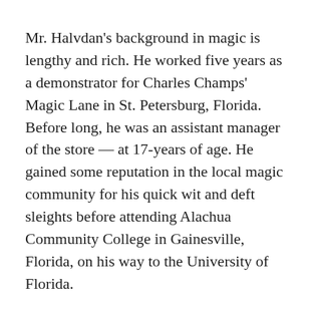Mr. Halvdan's background in magic is lengthy and rich. He worked five years as a demonstrator for Charles Champs' Magic Lane in St. Petersburg, Florida. Before long, he was an assistant manager of the store — at 17-years of age. He gained some reputation in the local magic community for his quick wit and deft sleights before attending Alachua Community College in Gainesville, Florida, on his way to the University of Florida.
Mr. Halvdan earned a bachelor's degree in communications from Florida, and First Place